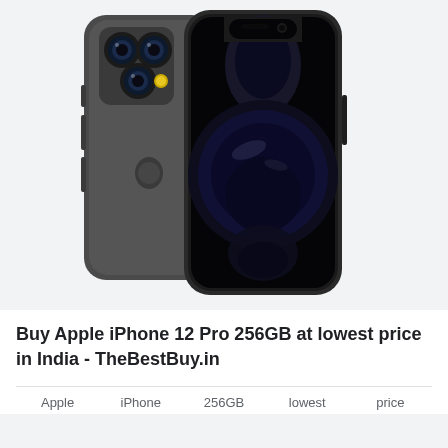[Figure (photo): Apple iPhone 12 Pro in graphite color, showing back view with triple camera system on left and front view with dark aesthetic wallpaper on right]
Buy Apple iPhone 12 Pro 256GB at lowest price in India - TheBestBuy.in
| Apple | iPhone | 256GB | lowest | price |